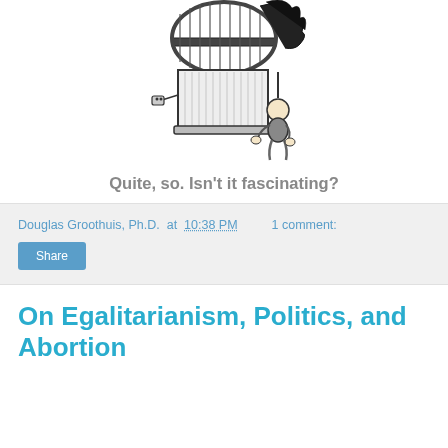[Figure (illustration): Black and white editorial cartoon showing a large barrel or drum-shaped machine/device with a child or small figure crouching beside it, appearing to operate or look into it. The machine sits on a box-like base with a power outlet visible.]
Quite, so. Isn't it fascinating?
Douglas Groothuis, Ph.D. at 10:38 PM    1 comment:
Share
On Egalitarianism, Politics, and Abortion